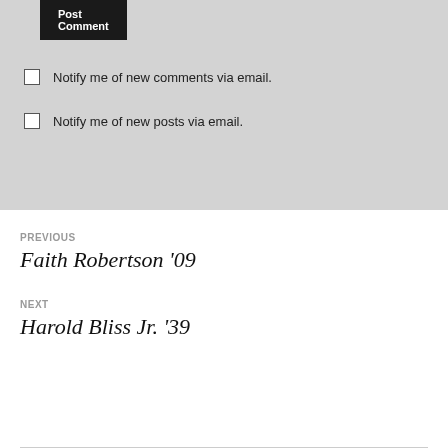Post Comment
Notify me of new comments via email.
Notify me of new posts via email.
PREVIOUS
Faith Robertson ’09
NEXT
Harold Bliss Jr. ’39